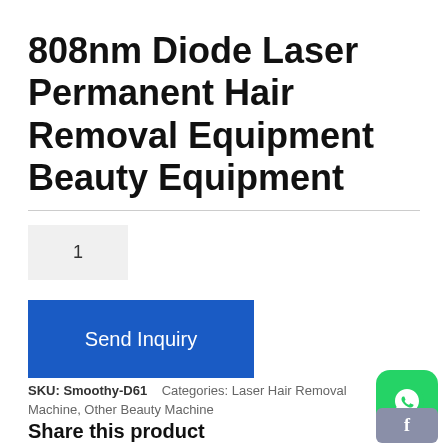808nm Diode Laser Permanent Hair Removal Equipment Beauty Equipment
1
Send Inquiry
SKU: Smoothy-D61    Categories: Laser Hair Removal Machine, Other Beauty Machine
Share this product